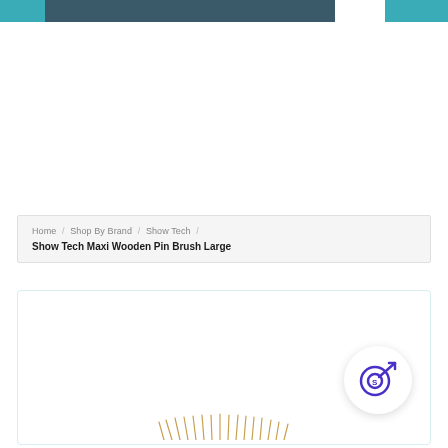Home / Shop By Brand / Show Tech /
Show Tech Maxi Wooden Pin Brush Large
[Figure (illustration): Product card with a circular icon containing a purple target/goal icon with letter S, and a partial image of a brush at the bottom of the card]